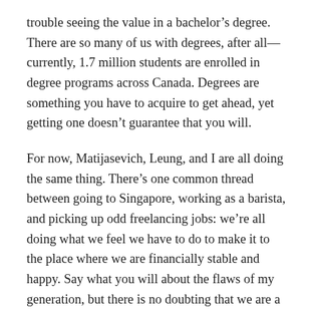trouble seeing the value in a bachelor's degree. There are so many of us with degrees, after all—currently, 1.7 million students are enrolled in degree programs across Canada. Degrees are something you have to acquire to get ahead, yet getting one doesn't guarantee that you will.
For now, Matijasevich, Leung, and I are all doing the same thing. There's one common thread between going to Singapore, working as a barista, and picking up odd freelancing jobs: we're all doing what we feel we have to do to make it to the place where we are financially stable and happy. Say what you will about the flaws of my generation, but there is no doubting that we are a perseverant one. Maybe I'm entitled, stubborn, or just another foolish kid part of an underemployment statistic. Maybe I am the quintessential millennial being analyzed in some think piece written by a Generation Xer with a good salary. Maybe. But mostly I like to think of myself as just another person who works hard and wants the best for themselves. I'm one of the